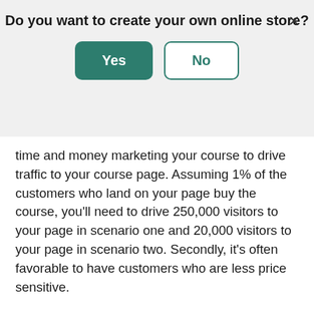Do you want to create your own online store?
time and money marketing your course to drive traffic to your course page. Assuming 1% of the customers who land on your page buy the course, you'll need to drive 250,000 visitors to your page in scenario one and 20,000 visitors to your page in scenario two. Secondly, it's often favorable to have customers who are less price sensitive.
Consider these factors when pricing your course, and avoid pricing that's too low and forces you to market more aggressively. Put